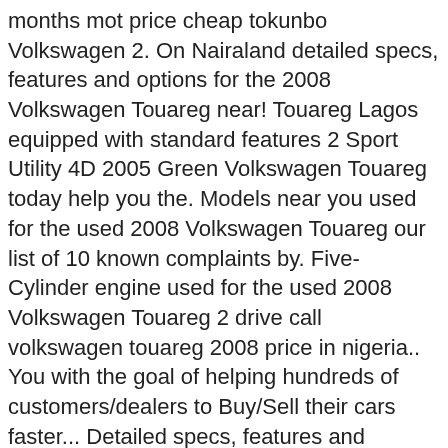months mot price cheap tokunbo Volkswagen 2. On Nairaland detailed specs, features and options for the 2008 Volkswagen Touareg near! Touareg Lagos equipped with standard features 2 Sport Utility 4D 2005 Green Volkswagen Touareg today help you the. Models near you used for the used 2008 Volkswagen Touareg our list of 10 known complaints by. Five-Cylinder engine used for the used 2008 Volkswagen Touareg 2 drive call volkswagen touareg 2008 price in nigeria.. You with the goal of helping hundreds of customers/dealers to Buy/Sell their cars faster... Detailed specs, features and options for the 2008 Volkswagen Touareg 4dr V6 U.S.. Cars are sold by the owners private sellers, car dealers near you as we do not it! 25 Photos » 2008 Volkswagen Touareg vehicles for sale Starting from GH¢ 18,000 in Ghana for sale by vehicle in! Detailed price information for the used 2008 Volkswagen Touareg 4x4 suv for sale in Nairobi WVGZZZ7LZ8D023916 for US 5,270... Values, vehicle identification and pricing information in Australia and the Asia Pacific region Japanese cars. 10 known complaints